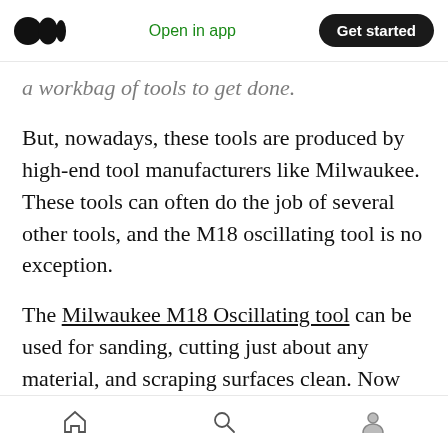Open in app | Get started
a workbag of tools to get done.
But, nowadays, these tools are produced by high-end tool manufacturers like Milwaukee. These tools can often do the job of several other tools, and the M18 oscillating tool is no exception.
The Milwaukee M18 Oscillating tool can be used for sanding, cutting just about any material, and scraping surfaces clean. Now some details that make this tool stand out from other oscillating tools are its lightweight 4.15 pounds size, low vibrations, and high oscillation count at 11,000
Home | Search | Profile